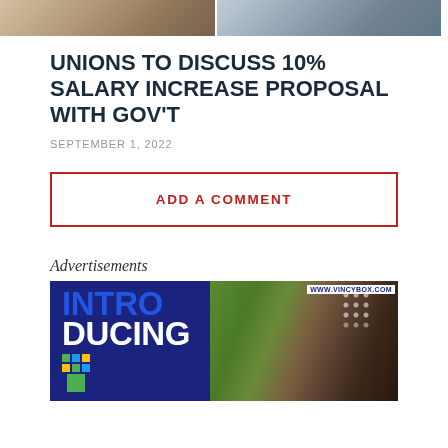[Figure (photo): Two people photographed from shoulders up, left person in plaid shirt, right person in light blue shirt]
UNIONS TO DISCUSS 10% SALARY INCREASE PROPOSAL WITH GOV'T
SEPTEMBER 1, 2022
ADD A COMMENT
Advertisements
[Figure (advertisement): VincyBox advertisement showing INTRODUCING text in blue and white with spices/cloves photo and colorful dot grid logo. URL: WWW.VINCYBOX.COM]